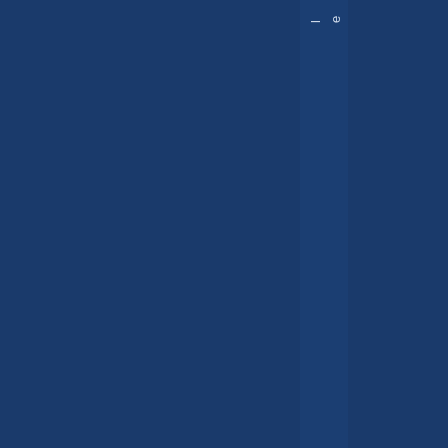s from the cities and towns and found that they were l